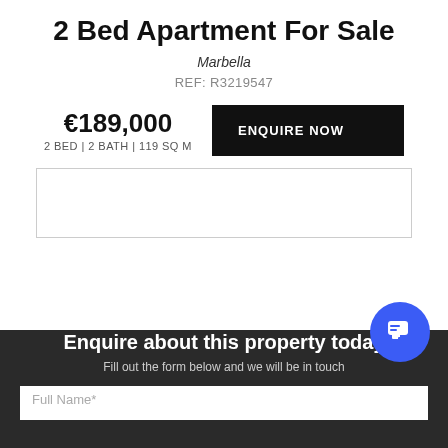2 Bed Apartment For Sale
Marbella
REF: R3219547
€189,000
2 BED | 2 BATH | 119 SQ M
[Figure (other): ENQUIRE NOW button - black rectangle with white uppercase text]
[Figure (other): Empty image placeholder with light border]
Enquire about this property today
Fill out the form below and we will be in touch
Full Name*